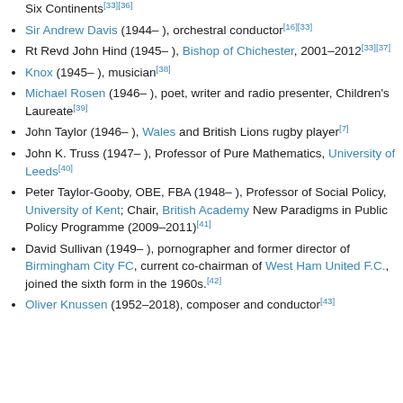Six Continents[33][36]
Sir Andrew Davis (1944– ), orchestral conductor[16][33]
Rt Revd John Hind (1945– ), Bishop of Chichester, 2001–2012[33][37]
Knox (1945– ), musician[38]
Michael Rosen (1946– ), poet, writer and radio presenter, Children's Laureate[39]
John Taylor (1946– ), Wales and British Lions rugby player[7]
John K. Truss (1947– ), Professor of Pure Mathematics, University of Leeds[40]
Peter Taylor-Gooby, OBE, FBA (1948– ), Professor of Social Policy, University of Kent; Chair, British Academy New Paradigms in Public Policy Programme (2009–2011)[41]
David Sullivan (1949– ), pornographer and former director of Birmingham City FC, current co-chairman of West Ham United F.C., joined the sixth form in the 1960s.[42]
Oliver Knussen (1952–2018), composer and conductor[43]